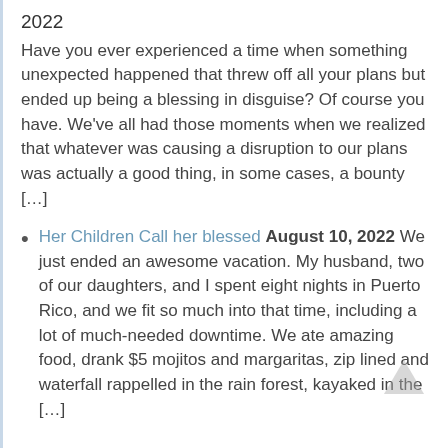2022
Have you ever experienced a time when something unexpected happened that threw off all your plans but ended up being a blessing in disguise? Of course you have. We've all had those moments when we realized that whatever was causing a disruption to our plans was actually a good thing, in some cases, a bounty […]
Her Children Call her blessed August 10, 2022 We just ended an awesome vacation. My husband, two of our daughters, and I spent eight nights in Puerto Rico, and we fit so much into that time, including a lot of much-needed downtime. We ate amazing food, drank $5 mojitos and margaritas, zip lined and waterfall rappelled in the rain forest, kayaked in the […]